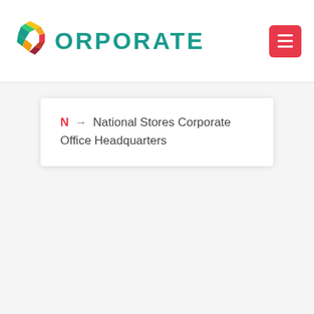[Figure (logo): Corporate logo with colorful C icon and teal CORPORATE text]
N → National Stores Corporate Office Headquarters